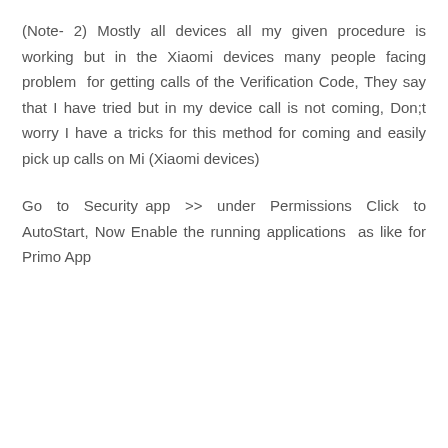(Note- 2) Mostly all devices all my given procedure is working but in the Xiaomi devices many people facing problem for getting calls of the Verification Code, They say that I have tried but in my device call is not coming, Don;t worry I have a tricks for this method for coming and easily pick up calls on Mi (Xiaomi devices)
Go to Security app >> under Permissions Click to AutoStart, Now Enable the running applications as like for Primo App